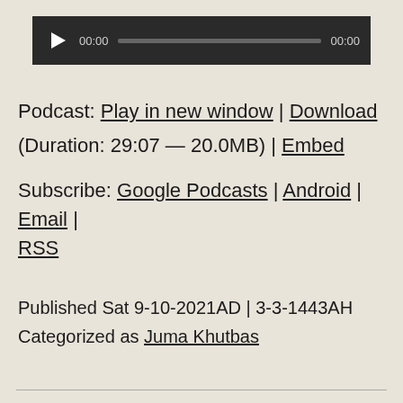[Figure (other): Audio player widget with dark background, play button, time display showing 00:00, progress bar, and end time 00:00]
Podcast: Play in new window | Download (Duration: 29:07 — 20.0MB) | Embed
Subscribe: Google Podcasts | Android | Email | RSS
Published Sat 9-10-2021AD | 3-3-1443AH
Categorized as Juma Khutbas